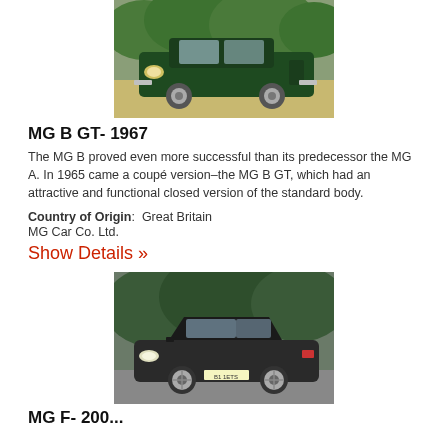[Figure (photo): Green MG B GT 1967 classic car parked on grass with trees in background]
MG B GT- 1967
The MG B proved even more successful than its predecessor the MG A. In 1965 came a coupé version–the MG B GT, which had an attractive and functional closed version of the standard body.
Country of Origin:  Great Britain
MG Car Co. Ltd.
Show Details »
[Figure (photo): Dark grey/black modern MG F or MG TF sports car on a road with trees in background]
MG F- 200...